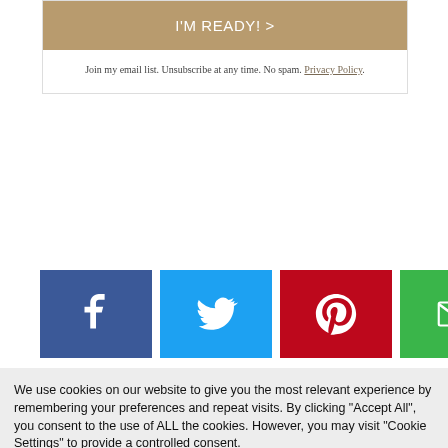I'M READY! >
Join my email list. Unsubscribe at any time. No spam. Privacy Policy.
[Figure (infographic): Row of social share buttons: Facebook (blue), Twitter (light blue), Pinterest (red), Email (green), Print (grey)]
We use cookies on our website to give you the most relevant experience by remembering your preferences and repeat visits. By clicking "Accept All", you consent to the use of ALL the cookies. However, you may visit "Cookie Settings" to provide a controlled consent.
Cookie Settings
Accept All